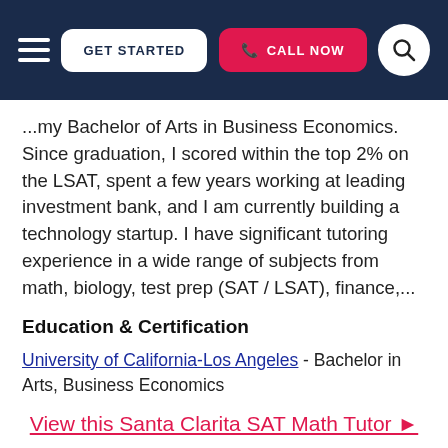GET STARTED | CALL NOW
...my Bachelor of Arts in Business Economics. Since graduation, I scored within the top 2% on the LSAT, spent a few years working at leading investment bank, and I am currently building a technology startup. I have significant tutoring experience in a wide range of subjects from math, biology, test prep (SAT / LSAT), finance,...
Education & Certification
University of California-Los Angeles - Bachelor in Arts, Business Economics
View this Santa Clarita SAT Math Tutor ►